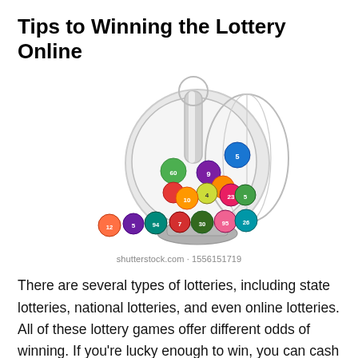Tips to Winning the Lottery Online
[Figure (illustration): A lottery ball machine with colorful numbered balls spilling out, including balls numbered 12, 5, 94, 7, 30, 95, 26, 5, 9, 4, 23, 10, 60, and others in various colors (green, red, purple, orange, blue, yellow).]
shutterstock.com · 1556151719
There are several types of lotteries, including state lotteries, national lotteries, and even online lotteries. All of these lottery games offer different odds of winning. If you're lucky enough to win, you can cash in